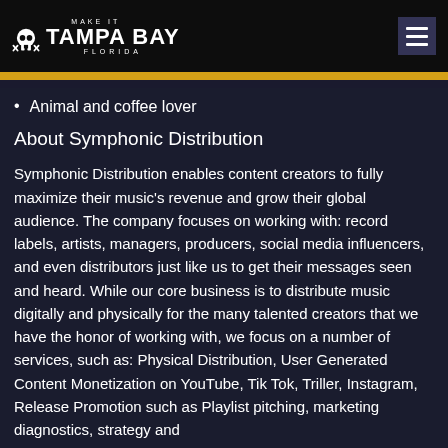Make It Tampa Bay Florida
Animal and coffee lover
About Symphonic Distribution
Symphonic Distribution enables content creators to fully maximize their music's revenue and grow their global audience. The company focuses on working with: record labels, artists, managers, producers, social media influencers, and even distributors just like us to get their messages seen and heard. While our core business is to distribute music digitally and physically for the many talented creators that we have the honor of working with, we focus on a number of services, such as: Physical Distribution, User Generated Content Monetization on YouTube, Tik Tok, Triller, Instagram, Release Promotion such as Playlist pitching, marketing diagnostics, strategy and